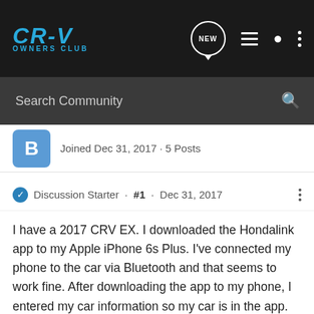[Figure (screenshot): CR-V Owners Club navigation bar with logo, NEW bubble icon, list icon, person icon, and three-dots icon on dark background]
[Figure (screenshot): Search Community search bar on dark grey background with magnifying glass icon]
Joined Dec 31, 2017 · 5 Posts
Discussion Starter · #1 · Dec 31, 2017
I have a 2017 CRV EX. I downloaded the Hondalink app to my Apple iPhone 6s Plus. I've connected my phone to the car via Bluetooth and that seems to work fine. After downloading the app to my phone, I entered my car information so my car is in the app. For about a month, the info about my car on the app dashboard (range, etc.) was current. Now when I bring up the app, I get the screen to connect to my car, even though the phone is already connected via Bluetooth. While i'm In the car, I get a message on the app that it is trying to connect to the car, but the app never shows it being connected. The result is that the dashboard information on the app, particularly the